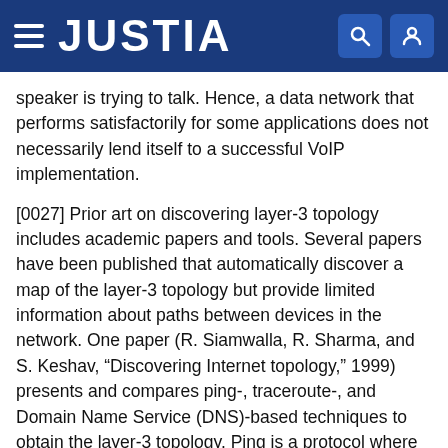JUSTIA
speaker is trying to talk. Hence, a data network that performs satisfactorily for some applications does not necessarily lend itself to a successful VoIP implementation.
[0027] Prior art on discovering layer-3 topology includes academic papers and tools. Several papers have been published that automatically discover a map of the layer-3 topology but provide limited information about paths between devices in the network. One paper (R. Siamwalla, R. Sharma, and S. Keshav, “Discovering Internet topology,” 1999) presents and compares ping-, traceroute-, and Domain Name Service (DNS)-based techniques to obtain the layer-3 topology. Ping is a protocol where one host sends a particular Internet Control Message Protocol (ICMP) message (an echo request) to another host, which in turn replies with